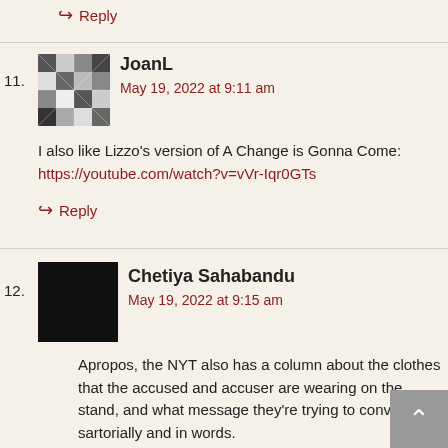↳ Reply
11. JoanL
May 19, 2022 at 9:11 am

I also like Lizzo's version of A Change is Gonna Come:
https://youtube.com/watch?v=vVr-Iqr0GTs
↳ Reply
12. Chetiya Sahabandu
May 19, 2022 at 9:15 am

Apropos, the NYT also has a column about the clothes that the accused and accuser are wearing on the stand, and what message they're trying to convey both sartorially and in words.